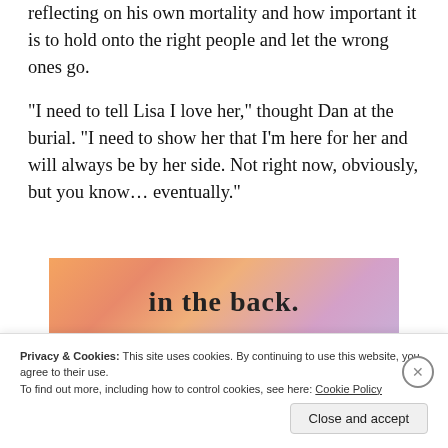reflecting on his own mortality and how important it is to hold onto the right people and let the wrong ones go.
“I need to tell Lisa I love her,” thought Dan at the burial. “I need to show her that I’m here for her and will always be by her side. Not right now, obviously, but you know… eventually.”
[Figure (illustration): Colorful advertisement banner with warm orange, pink and lavender gradient background. Bold text reads 'in the back.' partially visible.]
Privacy & Cookies: This site uses cookies. By continuing to use this website, you agree to their use.
To find out more, including how to control cookies, see here: Cookie Policy